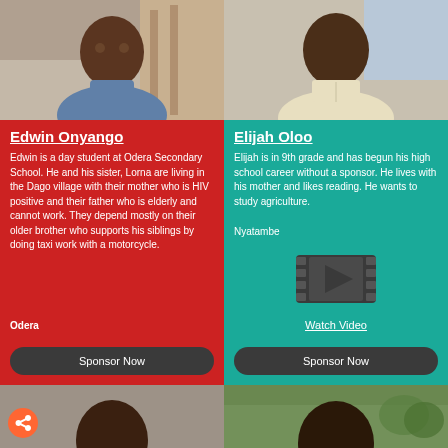[Figure (photo): Photo of Edwin Onyango, a man wearing a blue polo shirt]
Edwin Onyango
Edwin is a day student at Odera Secondary School. He and his sister, Lorna are living in the Dago village with their mother who is HIV positive and their father who is elderly and cannot work. They depend mostly on their older brother who supports his siblings by doing taxi work with a motorcycle.
Odera
[Figure (photo): Photo of Elijah Oloo, a man wearing a cream/white shirt]
Elijah Oloo
Elijah is in 9th grade and has begun his high school career without a sponsor. He lives with his mother and likes reading. He wants to study agriculture.
Nyatambe
[Figure (other): Video play button icon]
Watch Video
[Figure (photo): Photo of a child, top of head visible, dark background. Share icon (orange circle with arrow) in bottom-left corner.]
[Figure (photo): Photo of a child, top of head visible, outdoor green background]